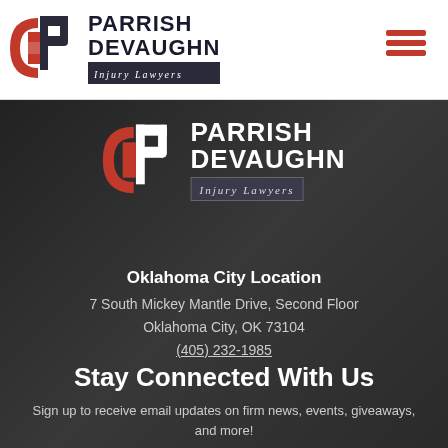Parrish DeVaughn Injury Lawyers logo and navigation
[Figure (logo): Parrish DeVaughn Injury Lawyers logo with red and dark P+D monogram icon and firm name]
[Figure (logo): Parrish DeVaughn Injury Lawyers logo (white version on dark background)]
Oklahoma City Location
7 South Mickey Mantle Drive, Second Floor
Oklahoma City, OK 73104
(405) 232-1985
Stay Connected With Us
Sign up to receive email updates on firm news, events, giveaways, and more!